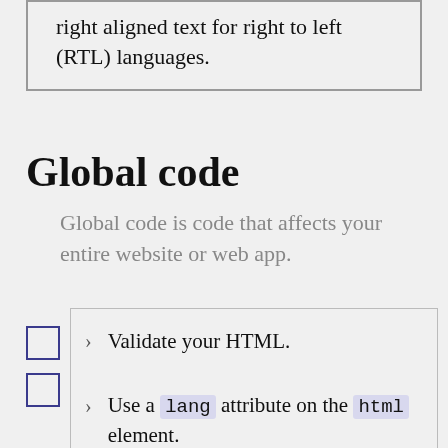right aligned text for right to left (RTL) languages.
Global code
Global code is code that affects your entire website or web app.
> Validate your HTML.
> Use a lang attribute on the html element.